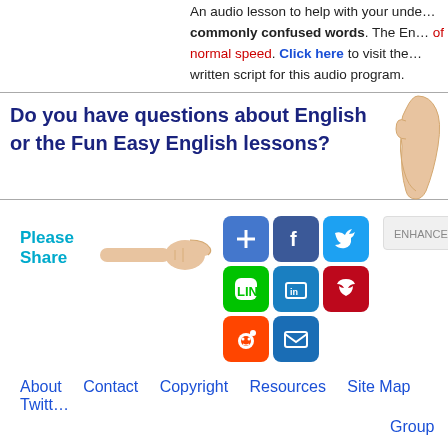An audio lesson to help with your understanding of commonly confused words. The English is spoken at 75% of normal speed. Click here to visit the page with the written script for this audio program.
Do you have questions about English or the Fun Easy English lessons?
Please Share
About   Contact   Copyright   Resources   Site Map   Twitter Group   Howie Hay
Copyright © 2003-2022 Fun Easy English